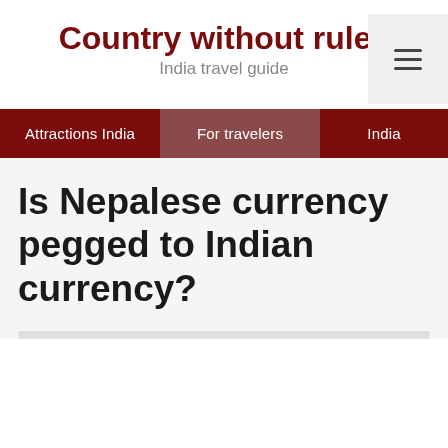Country without rules
India travel guide
Attractions India
For travelers
India
Is Nepalese currency pegged to Indian currency?